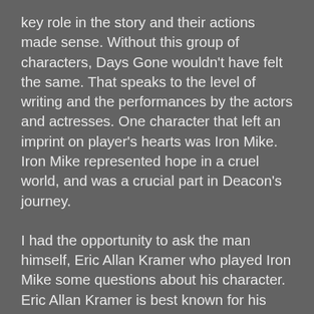key role in the story and their actions made sense. Without this group of characters, Days Gone wouldn't have felt the same. That speaks to the level of writing and the performances by the actors and actresses. One character that left an imprint on player's hearts was Iron Mike. Iron Mike represented hope in a cruel world, and was a crucial part in Deacon's journey.
I had the opportunity to ask the man himself, Eric Allan Kramer who played Iron Mike some questions about his character. Eric Allan Kramer is best known for his roles in Good Luck Charlie and Lodge 49, but has appeared in numerous shows and films such as, True Romance, Robin Hood Men in Tights, American Wedding and recently